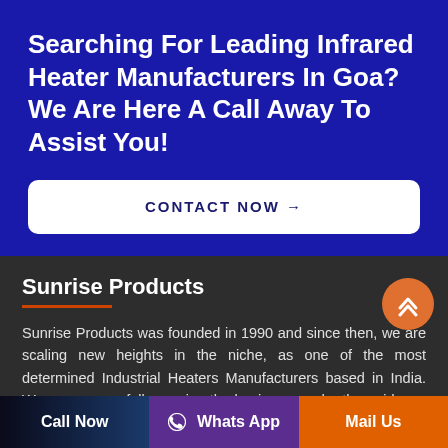Searching For Leading Infrared Heater Manufacturers In Goa? We Are Here A Call Away To Assist You!
CONTACT NOW →
Sunrise Products
Sunrise Products was founded in 1990 and since then, we are scaling new heights in the niche, as one of the most determined Industrial Heaters Manufacturers based in India. We are successfully running the business, under the guidance of our reputed owner Mr. Virender Aggarwal.
Call Now
Whats App
Mail Us